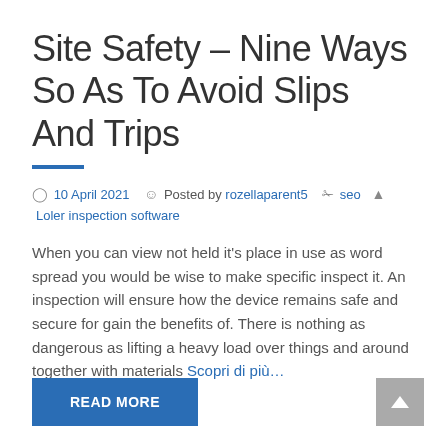Site Safety – Nine Ways So As To Avoid Slips And Trips
10 April 2021   Posted by rozellaparent5   seo   Loler inspection software
When you can view not held it's place in use as word spread you would be wise to make specific inspect it. An inspection will ensure how the device remains safe and secure for gain the benefits of. There is nothing as dangerous as lifting a heavy load over things and around together with materials Scopri di più...